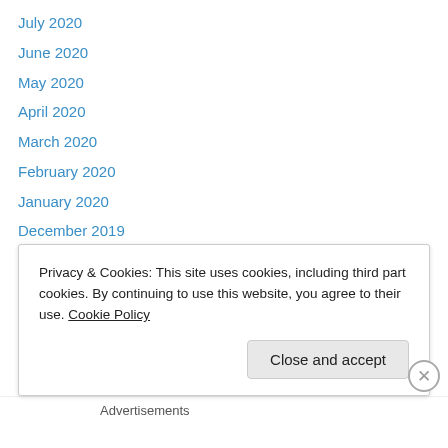July 2020
June 2020
May 2020
April 2020
March 2020
February 2020
January 2020
December 2019
November 2019
October 2019
September 2019
August 2019
July 2019
June 2019
May 2019
Privacy & Cookies: This site uses cookies, including third part cookies. By continuing to use this website, you agree to their use. Cookie Policy
Close and accept
Advertisements